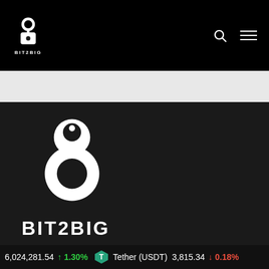[Figure (logo): BIT2BIG logo in navigation bar - white stylized '8' shaped icon on black background with BIT2BIG text below]
[Figure (logo): Large BIT2BIG logo centered on dark background - large white stylized '8' icon above white BIT2BIG text]
GET UPDATED
6,024,281.54  ↑1.30%  Tether (USDT)  3,815.34  ↓0.18%